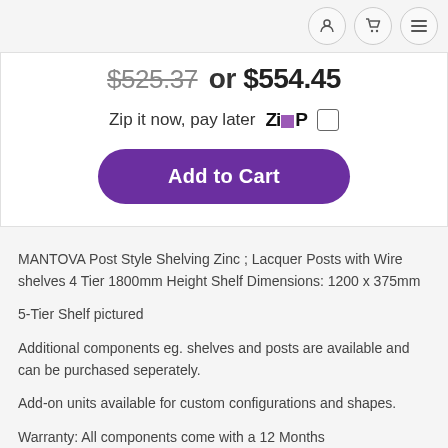Navigation icons: user, cart, menu
$525.37 or $554.45
Zip it now, pay later  ZIP  ☐
Add to Cart
MANTOVA Post Style Shelving Zinc ; Lacquer Posts with Wire shelves 4 Tier 1800mm Height Shelf Dimensions: 1200 x 375mm
5-Tier Shelf pictured
Additional components eg. shelves and posts are available and can be purchased seperately.
Add-on units available for custom configurations and shapes.
Warranty: All components come with a 12 Months